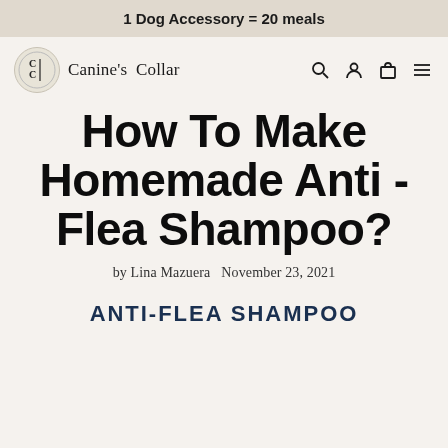1 Dog Accessory = 20 meals
[Figure (logo): Canine's Collar logo with circular CC emblem and brand name, plus navigation icons for search, user, cart, and menu]
How To Make Homemade Anti - Flea Shampoo?
by Lina Mazuera   November 23, 2021
ANTI-FLEA SHAMPOO